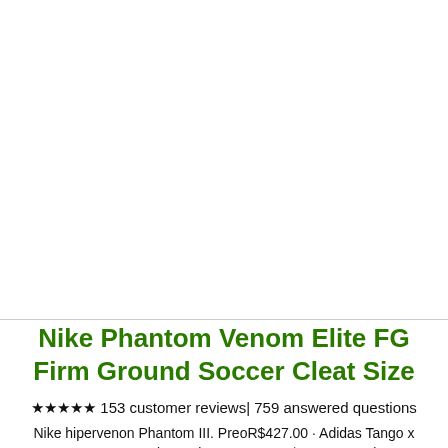[Figure (photo): White/blank product image area for Nike Phantom Venom Elite FG soccer cleat]
Nike Phantom Venom Elite FG Firm Ground Soccer Cleat Size
★★★★★ 153 customer reviews| 759 answered questions
Nike hipervenon Phantom III. Pre​oR$427.00 · Adidas Tango x
47+ answered questions · Pre​ ... IR$998.99R​ · Nike